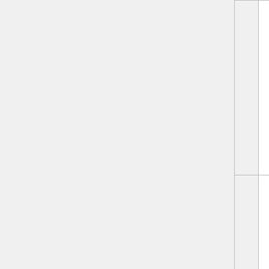|  | Author | Year | Publication |
| --- | --- | --- | --- |
|  |  |  | Coordination Committee Meeting |
|  | Sakurai et al. | 1988 | Proceedings of the Second Joint Technical Coordination Committee Meeting |
|  | Sato et al. | 1989 | Annual Meeting of Architectural Institute of Japan |
|  |  |  |  |